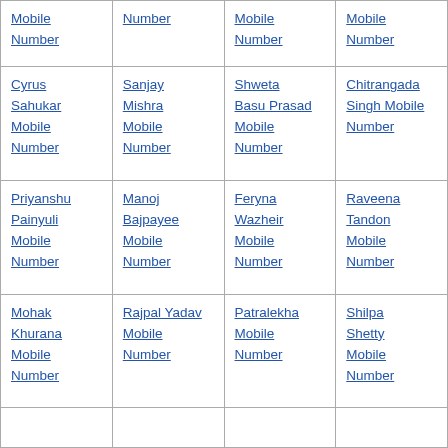| Mobile Number | Number | Mobile Number | Mobile Number |
| Cyrus Sahukar Mobile Number | Sanjay Mishra Mobile Number | Shweta Basu Prasad Mobile Number | Chitrangada Singh Mobile Number |
| Priyanshu Painyuli Mobile Number | Manoj Bajpayee Mobile Number | Feryna Wazheir Mobile Number | Raveena Tandon Mobile Number |
| Mohak Khurana Mobile Number | Rajpal Yadav Mobile Number | Patralekha Mobile Number | Shilpa Shetty Mobile Number |
|  |  |  |  |